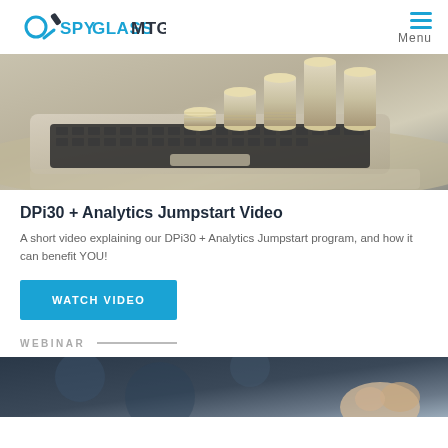SPYGLASS MTG — Menu
[Figure (photo): Photo of stacked coins on a laptop keyboard, representing financial analytics]
DPi30 + Analytics Jumpstart Video
A short video explaining our DPi30 + Analytics Jumpstart program, and how it can benefit YOU!
WATCH VIDEO
WEBINAR
[Figure (photo): Partial photo with dark blue/grey background, appears to be a person at a webinar or presentation]